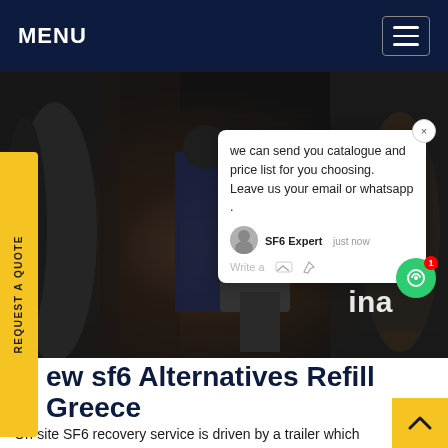MENU
[Figure (photo): Industrial photo showing workers with SF6 gas recovery equipment in a facility with cylinders and machinery]
REQUEST A QUOTE
we can send you catalogue and price list for you choosing.
Leave us your email or whatsapp .
SF6 Expert    just now
Write a
ew sf6 Alternatives Refill Greece
On-site SF6 recovery service is driven by a trailer which equipped with our full set of recovery, ref purification equipment and measuring instrument,